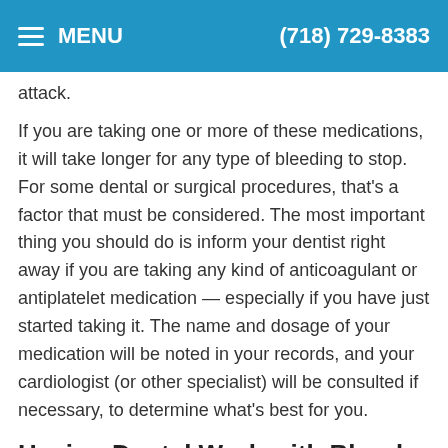MENU  (718) 729-8383
attack.
If you are taking one or more of these medications, it will take longer for any type of bleeding to stop. For some dental or surgical procedures, that's a factor that must be considered. The most important thing you should do is inform your dentist right away if you are taking any kind of anticoagulant or antiplatelet medication — especially if you have just started taking it. The name and dosage of your medication will be noted in your records, and your cardiologist (or other specialist) will be consulted if necessary, to determine what's best for you.
Having Dental Work with Blood Thinners